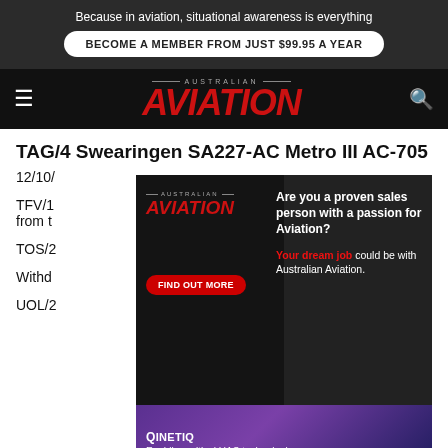Because in aviation, situational awareness is everything
BECOME A MEMBER FROM JUST $99.95 A YEAR
AUSTRALIAN AVIATION
TAG/4 Swearingen SA227-AC Metro III AC-705
12/10/
TFV/1 ... rawn from t...
TOS/2
Withd
UOL/2 ... 0/17
[Figure (infographic): Australian Aviation recruitment advertisement overlay showing logo, 'Are you a proven sales person with a passion for Aviation?', 'FIND OUT MORE' button, 'Your dream job could be with Australian Aviation.' tagline, and QinetiQ 'Enabling critical UAS technologies' banner below.]